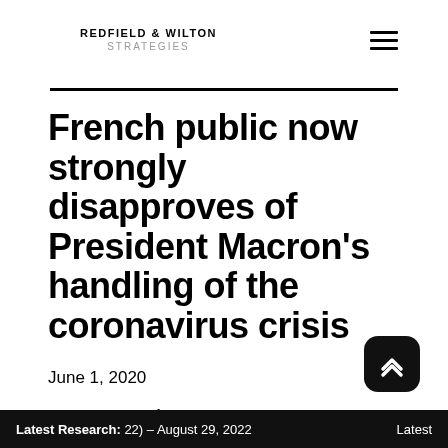REDFIELD & WILTON STRATEGIES
French public now strongly disapproves of President Macron's handling of the coronavirus crisis
June 1, 2020
R&WS Research Team
Latest Research: 22) – August 29, 2022   Latest